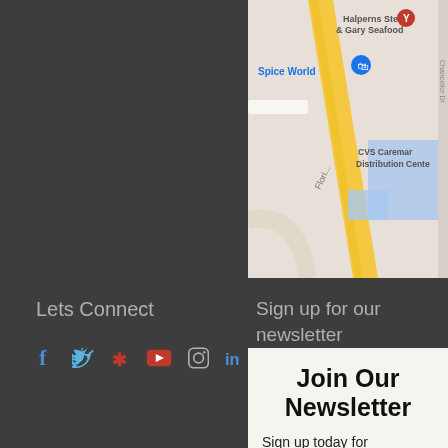[Figure (map): Google Maps screenshot showing Halperns Steak & Gary Seafood, Spice World, CVS Caremark Distribution Center area with a yellow road running diagonally]
Lets Connect
[Figure (infographic): Row of social media icons: Facebook (f), Twitter (bird), Yelp (star person), YouTube (play button), Instagram (camera circle), LinkedIn (in)]
Sign up for our newsletter
Join Our Newsletter
Sign up today for announcements of new gear and events.